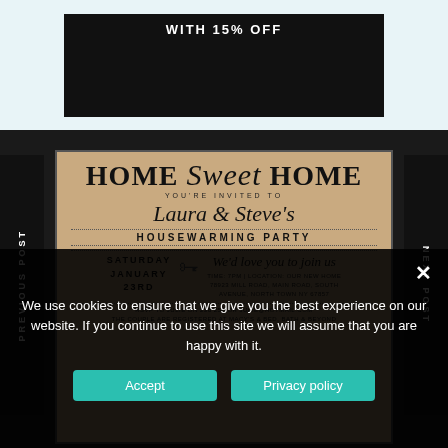[Figure (other): Dark promotional banner with white bold text 'WITH 15% OFF']
[Figure (photo): Housewarming party invitation card on aged kraft paper. Text reads: HOME Sweet HOME, YOU'RE INVITED TO, Laura & Steve's, HOUSEWARMING PARTY, SATURDAY JANUARY 23RD, We'd love you to join us, TIME: 7PM | LOCATION: OUR NEW HOME, 78923 MILL ROAD, MAIN ROAD, SOUTH AVENUE, NORTH TOWN NY 67857, RSVP TO JULIE ON 236 256 OR JULIE@HOTMAIL.COM, THE COUPLE ARE REGISTERED AT MACY'S & BED, BATH & BEYOND]
PREVIOUS POST
NEXT POST
We use cookies to ensure that we give you the best experience on our website. If you continue to use this site we will assume that you are happy with it.
Accept
Privacy policy